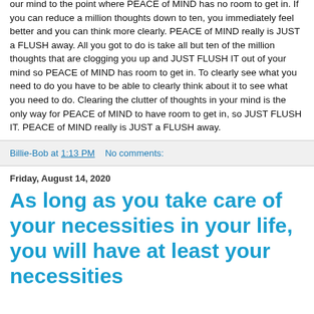our mind to the point where PEACE of MIND has no room to get in. If you can reduce a million thoughts down to ten, you immediately feel better and you can think more clearly. PEACE of MIND really is JUST a FLUSH away. All you got to do is take all but ten of the million thoughts that are clogging you up and JUST FLUSH IT out of your mind so PEACE of MIND has room to get in. To clearly see what you need to do you have to be able to clearly think about it to see what you need to do. Clearing the clutter of thoughts in your mind is the only way for PEACE of MIND to have room to get in, so JUST FLUSH IT. PEACE of MIND really is JUST a FLUSH away.
Billie-Bob at 1:13 PM    No comments:
Friday, August 14, 2020
As long as you take care of your necessities in your life, you will have at least your necessities